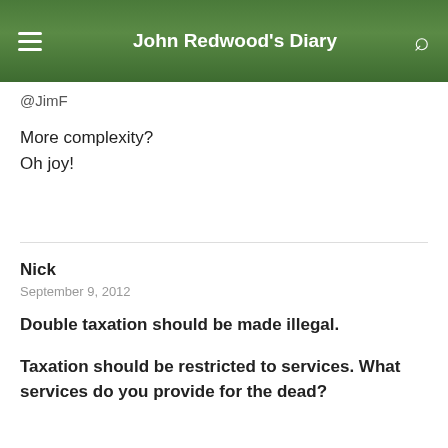John Redwood's Diary
@JimF
More complexity?
Oh joy!
Nick
September 9, 2012
Double taxation should be made illegal.
Taxation should be restricted to services. What services do you provide for the dead?